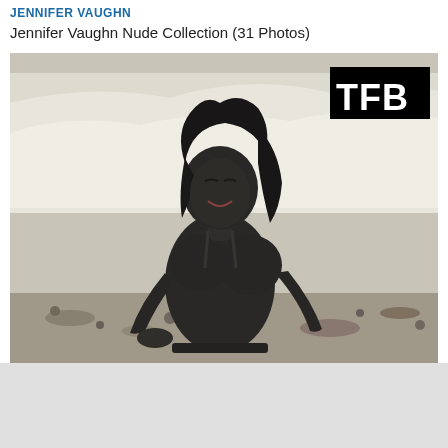Jennifer Vaughn Nude Collection (31 Photos)
JENNIFER VAUGHN
Jennifer Vaughn Nude Collection (31 Photos)
[Figure (photo): Woman covered in dark mud/Dead Sea mud, wearing a bikini, standing on a rocky beach with white chalk cliffs in the background. She is smiling/laughing with eyes closed. A watermark 'TFB' appears in the top right corner of the image.]